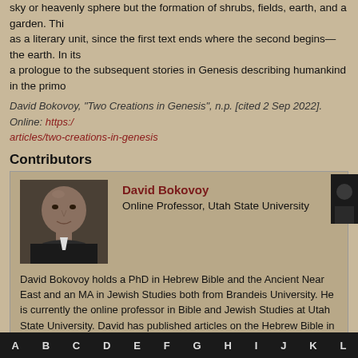sky or heavenly sphere but the formation of shrubs, fields, earth, and a garden. This as a literary unit, since the first text ends where the second begins—the earth. In its a prologue to the subsequent stories in Genesis describing humankind in the primo
David Bokovoy, "Two Creations in Genesis", n.p. [cited 2 Sep 2022]. Online: https://articles/two-creations-in-genesis
Contributors
[Figure (photo): Photo of David Bokovoy, a bald man in dark clothing]
David Bokovoy
Online Professor, Utah State University
David Bokovoy holds a PhD in Hebrew Bible and the Ancient Near East and an MA in Jewish Studies both from Brandeis University. He is currently the online professor in Bible and Jewish Studies at Utah State University. David has published articles on the Hebrew Bible in a variety of academic venues, including the Journal of Biblical Literature, Vetus Testamentum, and Studies in the Bible and Antiquity. His academic focus is on source criticism, historical Jesus studies, the divine council, and sexual imagery connected with divinities in Near Eastern and biblical traditions.
Browse by subject - click on a letter below.
A  B  C  D  E  F  G  H  I  J  K  L